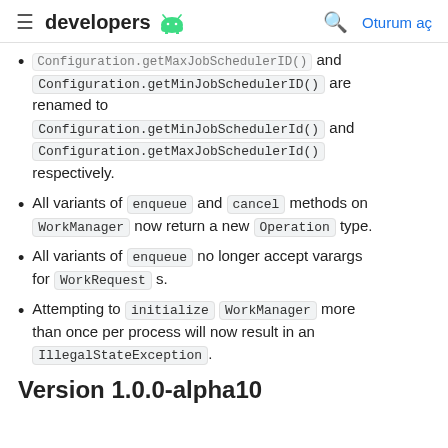developers [android icon] | search | Oturum aç
Configuration.getMaxJobSchedulerID() and Configuration.getMinJobSchedulerID() are renamed to Configuration.getMinJobSchedulerId() and Configuration.getMaxJobSchedulerId() respectively.
All variants of enqueue and cancel methods on WorkManager now return a new Operation type.
All variants of enqueue no longer accept varargs for WorkRequest s.
Attempting to initialize WorkManager more than once per process will now result in an IllegalStateException.
Version 1.0.0-alpha10